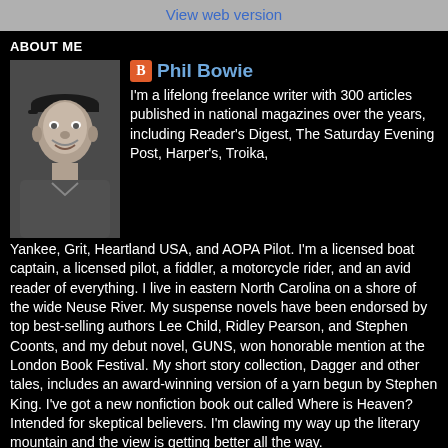View web version
ABOUT ME
[Figure (photo): Black and white portrait photo of Phil Bowie, an older man wearing a cap, smiling]
Phil Bowie
I'm a lifelong freelance writer with 300 articles published in national magazines over the years, including Reader's Digest, The Saturday Evening Post, Harper's, Troika, Yankee, Grit, Heartland USA, and AOPA Pilot. I'm a licensed boat captain, a licensed pilot, a fiddler, a motorcycle rider, and an avid reader of everything. I live in eastern North Carolina on a shore of the wide Neuse River. My suspense novels have been endorsed by top best-selling authors Lee Child, Ridley Pearson, and Stephen Coonts, and my debut novel, GUNS, won honorable mention at the London Book Festival. My short story collection, Dagger and other tales, includes an award-winning version of a yarn begun by Stephen King. I've got a new nonfiction book out called Where is Heaven? Intended for skeptical believers. I'm clawing my way up the literary mountain and the view is getting better all the way.
View my complete profile
Powered by Blogger.